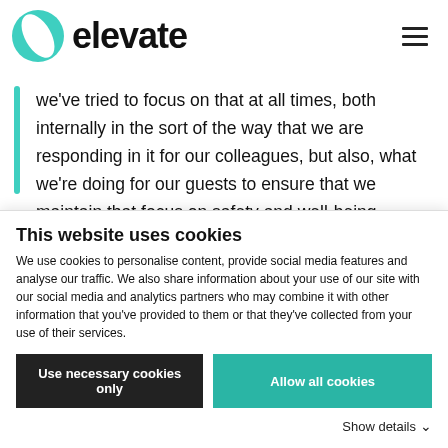elevate
we've tried to focus on that at all times, both internally in the sort of the way that we are responding in it for our colleagues, but also, what we're doing for our guests to ensure that we maintain that focus on safety and well-being.
This website uses cookies
We use cookies to personalise content, provide social media features and analyse our traffic. We also share information about your use of our site with our social media and analytics partners who may combine it with other information that you've provided to them or that they've collected from your use of their services.
Use necessary cookies only | Allow all cookies | Show details